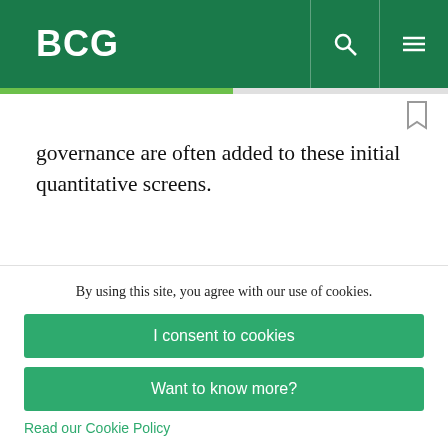BCG
governance are often added to these initial quantitative screens.
Screens of this sort were used, for example, in 2011 when Bill Ackman's Pershing Square acquired a 12 percent stake in Canadian Pacific Railway. Ackman
By using this site, you agree with our use of cookies.
I consent to cookies
Want to know more?
Read our Cookie Policy